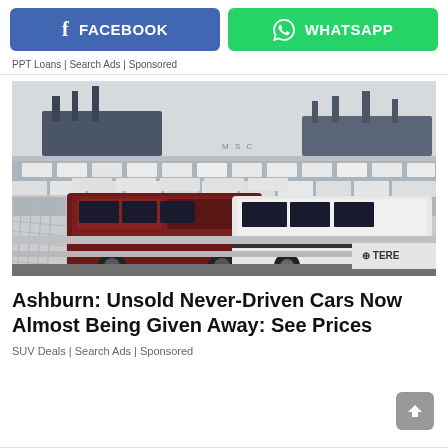[Figure (screenshot): Facebook and WhatsApp share buttons side by side]
PPT Loans | Search Ads | Sponsored
[Figure (photo): Large lot filled with hundreds of Toyota FJ Cruiser SUVs at a port/shipping yard, with cargo ships and cranes visible in the background. A chain-link fence is visible in the foreground. A dark red/maroon FJ Cruiser and a white FJ Cruiser are prominently visible. A TEREY label is visible on a container in the lower right.]
Ashburn: Unsold Never-Driven Cars Now Almost Being Given Away: See Prices
SUV Deals | Search Ads | Sponsored